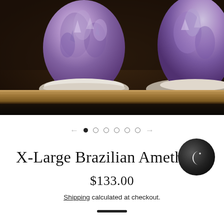[Figure (photo): Two large amethyst crystal clusters sitting on a wooden shelf against a dark background. The crystals are purple with white/grey rocky bases.]
← ● ○ ○ ○ ○ ○ →
X-Large Brazilian Ameth…
$133.00
Shipping calculated at checkout.